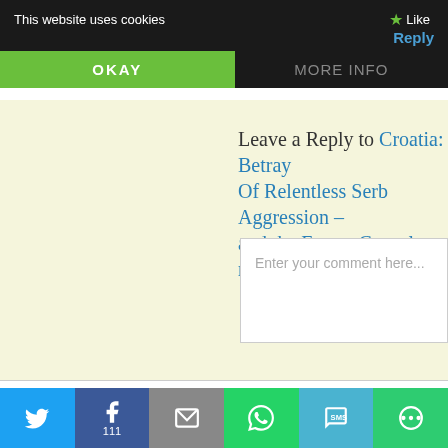This website uses cookies
Like
Reply
OKAY
MORE INFO
Leave a Reply to Croatia: Betrayal Of Relentless Serb Aggression – and the Future Cancel reply
Enter your comment here...
THE GOSPEL OF JOHN, C
"and you will know will make you fre
[Figure (photo): Hand with yellow and grey coloring, appears to be a painted or graphic hand image]
111